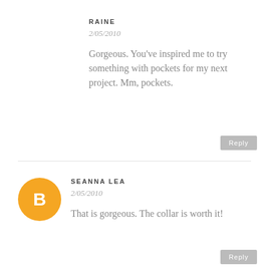RAINE
2/05/2010
Gorgeous. You've inspired me to try something with pockets for my next project. Mm, pockets.
Reply
[Figure (illustration): Orange circular Blogger avatar icon with white B logo]
SEANNA LEA
2/05/2010
That is gorgeous. The collar is worth it!
Reply